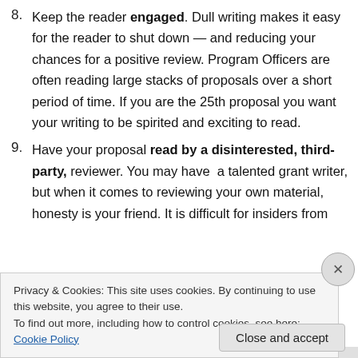8. Keep the reader engaged. Dull writing makes it easy for the reader to shut down — and reducing your chances for a positive review. Program Officers are often reading large stacks of proposals over a short period of time. If you are the 25th proposal you want your writing to be spirited and exciting to read.
9. Have your proposal read by a disinterested, third-party, reviewer. You may have a talented grant writer, but when it comes to reviewing your own material, honesty is your friend. It is difficult for insiders from
Privacy & Cookies: This site uses cookies. By continuing to use this website, you agree to their use.
To find out more, including how to control cookies, see here: Cookie Policy
Close and accept